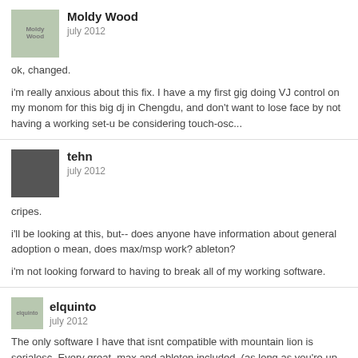Moldy Wood
july 2012
ok, changed.

i'm really anxious about this fix. I have a my first gig doing VJ control on my monom for this big dj in Chengdu, and don't want to lose face by not having a working set-u be considering touch-osc...
tehn
july 2012
cripes.

i'll be looking at this, but-- does anyone have information about general adoption o mean, does max/msp work? ableton?

i'm not looking forward to having to break all of my working software.
elquinto
july 2012
The only software I have that isnt compatible with mountain lion is serialosc. Every great, max and ableton included. (as long as you're up to date)